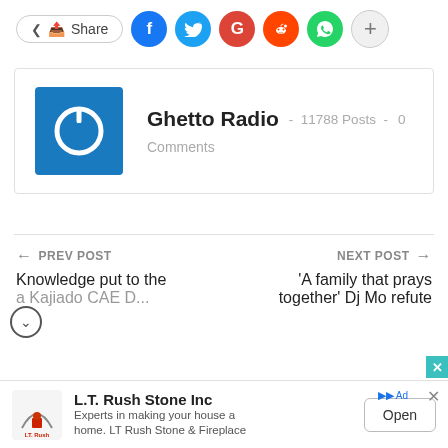[Figure (other): Social share bar with Share button and social media icons: Facebook (blue), Twitter (light blue), Google (red), Reddit (orange-red), WhatsApp (green), and a plus/more button]
[Figure (other): Author card for Ghetto Radio showing a blue power button logo icon, name 'Ghetto Radio', 11788 Posts, 0 Comments]
← PREV POST   Knowledge put to the ... Kajiado CAE D...
NEXT POST →   'A family that prays together' Dj Mo refute...
[Figure (other): Advertisement banner for L.T. Rush Stone Inc with logo, tagline 'Experts in making your house a home. LT Rush Stone & Fireplace', and Open button]